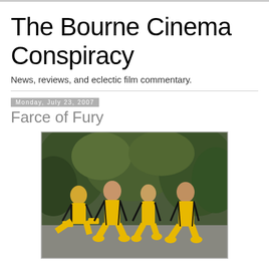The Bourne Cinema Conspiracy
News, reviews, and eclectic film commentary.
Monday, July 23, 2007
Farce of Fury
[Figure (photo): Four people dressed in yellow and black Bruce Lee-style tracksuits posing with kicks in front of green foliage background]